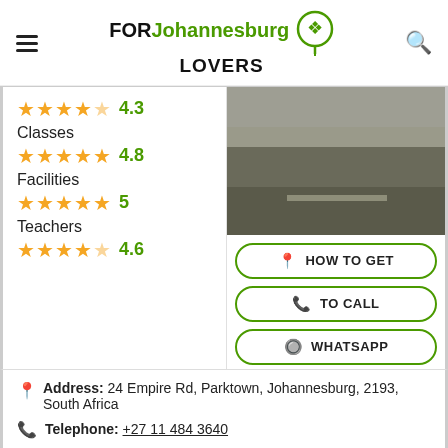FOR Johannesburg LOVERS
Classes 4.8
Facilities 5
Teachers 4.6
[Figure (photo): Exterior photo of a road or driveway near the educational institution]
HOW TO GET
TO CALL
WHATSAPP
Address: 24 Empire Rd, Parktown, Johannesburg, 2193, South Africa
Telephone: +27 11 484 3640
Guy: Public educational institution